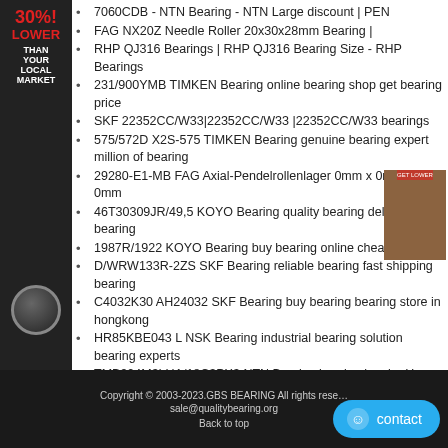[Figure (infographic): Dark sidebar ad with '30% LOWER THAN YOUR LOCAL MARKET' text and a bearing circle icon]
[Figure (photo): Small thumbnail photo of a person on brown/book background, top-right corner]
7060CDB - NTN Bearing - NTN Large discount | PEN
FAG NX20Z Needle Roller 20x30x28mm Bearing |
RHP QJ316 Bearings | RHP QJ316 Bearing Size - RHP Bearings
231/900YMB TIMKEN Bearing online bearing shop get bearing price
SKF 22352CC/W33|22352CC/W33 |22352CC/W33 bearings
575/572D X2S-575 TIMKEN Bearing genuine bearing expert million of bearing
29280-E1-MB FAG Axial-Pendelrollenlager 0mm x 0mm x 0mm
46T30309JR/49,5 KOYO Bearing quality bearing delivery top bearing
1987R/1922 KOYO Bearing buy bearing online cheap bearing
D/WRW133R-2ZS SKF Bearing reliable bearing fast shipping bearing
C4032K30 AH24032 SKF Bearing buy bearing bearing store in hongkong
HR85KBE043 L NSK Bearing industrial bearing solution bearing experts
TMB904M3LUA/18C3PX3 NTN Bearing bearing inquire Huge Stocks bearing
Copyright © 2003-2023.GBS BEARING All rights reserved. sale@qualitybearing.org Back to top